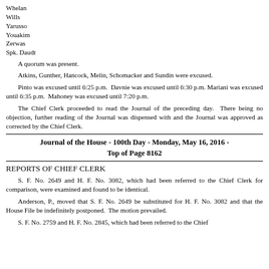Whelan
Wills
Yarusso
Youakim
Zerwas
Spk. Daudt
A quorum was present.
Atkins, Gunther, Hancock, Melin, Schomacker and Sundin were excused.
Pinto was excused until 6:25 p.m.  Davnie was excused until 6:30 p.m.  Mariani was excused until 6:35 p.m.  Mahoney was excused until 7:20 p.m.
The Chief Clerk proceeded to read the Journal of the preceding day.  There being no objection, further reading of the Journal was dispensed with and the Journal was approved as corrected by the Chief Clerk.
Journal of the House - 100th Day - Monday, May 16, 2016 - Top of Page 8162
REPORTS OF CHIEF CLERK
S. F. No. 2649 and H. F. No. 3082, which had been referred to the Chief Clerk for comparison, were examined and found to be identical.
Anderson, P., moved that S. F. No. 2649 be substituted for H. F. No. 3082 and that the House File be indefinitely postponed.  The motion prevailed.
S. F. No. 2759 and H. F. No. 2845, which had been referred to the Chief